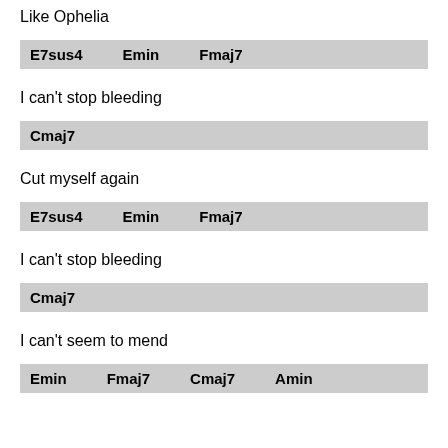Like Ophelia
E7sus4    Emin    Fmaj7
I can't stop bleeding
Cmaj7
Cut myself again
E7sus4    Emin    Fmaj7
I can't stop bleeding
Cmaj7
I can't seem to mend
Emin    Fmaj7    Cmaj7    Amin